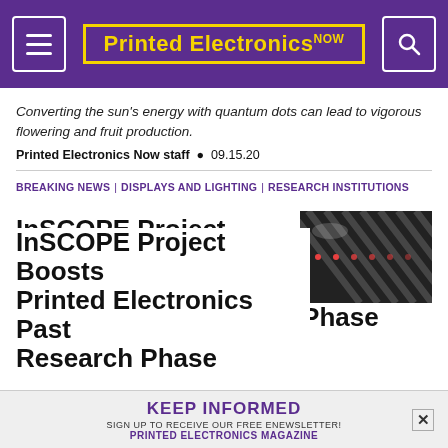Printed Electronics NOW
Converting the sun's energy with quantum dots can lead to vigorous flowering and fruit production.
Printed Electronics Now staff • 09.15.20
BREAKING NEWS | DISPLAYS AND LIGHTING | RESEARCH INSTITUTIONS
[Figure (photo): Close-up photo of printed electronics panel showing parallel lines with small LED dots]
InSCOPE Project Boosts Printed Electronics Past Research Phase
KEEP INFORMED — SIGN UP TO RECEIVE OUR FREE ENEWSLETTER! PRINTED ELECTRONICS MAGAZINE